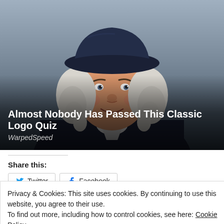[Figure (illustration): Illustrated portrait of a colonial-era figure (resembling the Quaker Oats man) with white curly hair and a dark blue tricorn hat, smiling, wearing a dark coat with white collar, against a dark grey/blue gradient background.]
Almost Nobody Has Passed This Classic Logo Quiz
WarpedSpeed
Share this:
Privacy & Cookies: This site uses cookies. By continuing to use this website, you agree to their use.
To find out more, including how to control cookies, see here: Cookie Policy
Close and accept